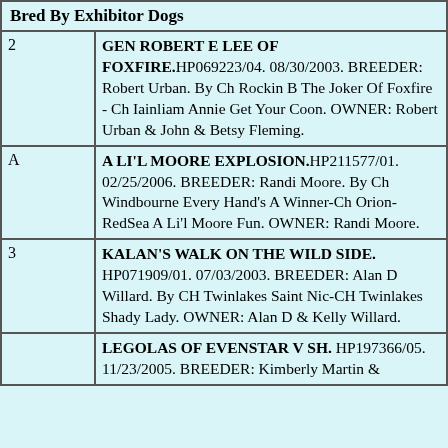|  | Bred By Exhibitor Dogs |
| --- | --- |
| 2 | GEN ROBERT E LEE OF FOXFIRE. HP069223/04. 08/30/2003. BREEDER: Robert Urban. By Ch Rockin B The Joker Of Foxfire - Ch Iainliam Annie Get Your Coon. OWNER: Robert Urban & John & Betsy Fleming. |
| A | A LI'L MOORE EXPLOSION. HP211577/01. 02/25/2006. BREEDER: Randi Moore. By Ch Windbourne Every Hand's A Winner-Ch Orion-RedSea A Li'l Moore Fun. OWNER: Randi Moore. |
| 3 | KALAN'S WALK ON THE WILD SIDE. HP071909/01. 07/03/2003. BREEDER: Alan D Willard. By CH Twinlakes Saint Nic-CH Twinlakes Shady Lady. OWNER: Alan D & Kelly Willard. |
|  | LEGOLAS OF EVENSTAR V SH. HP197366/05. 11/23/2005. BREEDER: Kimberly Martin & |